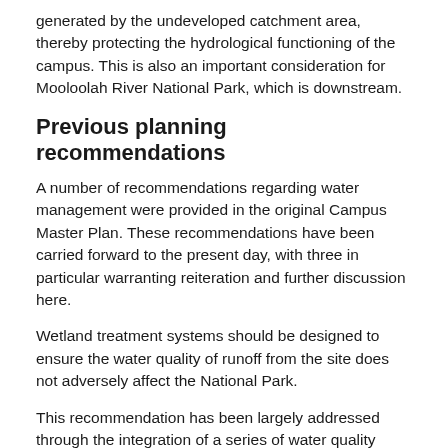generated by the undeveloped catchment area, thereby protecting the hydrological functioning of the campus. This is also an important consideration for Mooloolah River National Park, which is downstream.
Previous planning recommendations
A number of recommendations regarding water management were provided in the original Campus Master Plan. These recommendations have been carried forward to the present day, with three in particular warranting reiteration and further discussion here.
Wetland treatment systems should be designed to ensure the water quality of runoff from the site does not adversely affect the National Park.
This recommendation has been largely addressed through the integration of a series of water quality improvement features and the development of on